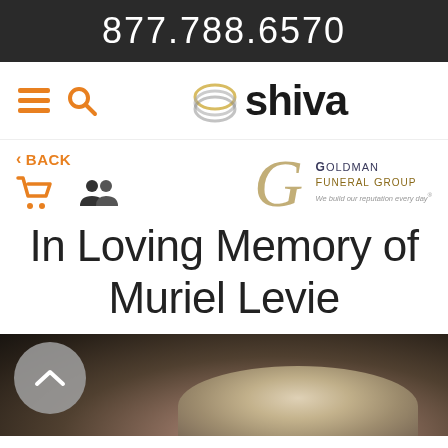877.788.6570
[Figure (logo): eShiva website navigation bar with hamburger menu, search icon, and eShiva logo]
< BACK
[Figure (logo): Goldman Funeral Group logo with ornate G and tagline 'We build our reputation every day']
In Loving Memory of Muriel Levie
[Figure (photo): Partial photo of elderly person with light gray/blonde hair, dark blurred background]